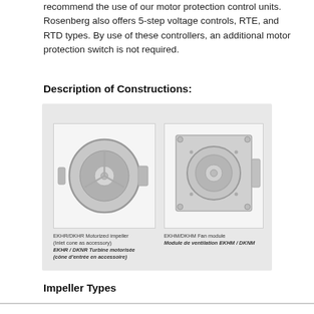recommend the use of our motor protection control units. Rosenberg also offers 5-step voltage controls, RTE, and RTD types. By use of these controllers, an additional motor protection switch is not required.
Description of Constructions:
[Figure (photo): Two fan components shown: left image shows EKHR/DKHR Motorized impeller (inlet cone as accessory) / EKHR / DKNR Turbine motorisée (cône d'entrée en accessoire); right image shows EKHM/DKHM Fan module / Module de ventilation EKHM / DKNM]
Impeller Types